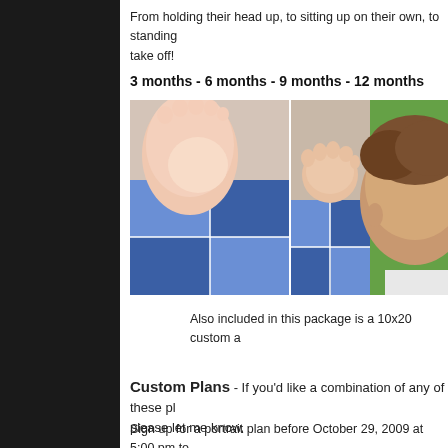From holding their head up, to sitting up on their own, to standing take off!
3 months - 6 months - 9 months - 12 months
[Figure (photo): Two baby photo panels: left shows baby feet and hands on blue checkered blanket, right shows back of baby's head against green background]
Also included in this package is a 10x20 custom a
Custom Plans - If you'd like a combination of any of these pl please let me know.
Sign up for a portrait plan before October 29, 2009 at 5:00 pm to